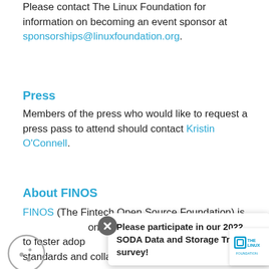Please contact The Linux Foundation for information on becoming an event sponsor at sponsorships@linuxfoundation.org.
Press
Members of the press who would like to request a press pass to attend should contact Kristin O'Connell.
About FINOS
FINOS (The Fintech Open Source Foundation) is ... on is to foster adop... standards and collaborative software
[Figure (other): Popup overlay: 'Please participate in our 2022 SODA Data and Storage Trends survey!' with a close (X) button and The Linux Foundation logo box. A cookie consent icon is visible at the lower left.]